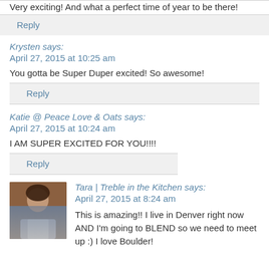Very exciting! And what a perfect time of year to be there!
Reply
Krysten says:
April 27, 2015 at 10:25 am
You gotta be Super Duper excited! So awesome!
Reply
Katie @ Peace Love & Oats says:
April 27, 2015 at 10:24 am
I AM SUPER EXCITED FOR YOU!!!!
Reply
Tara | Treble in the Kitchen says:
April 27, 2015 at 8:24 am
This is amazing!! I live in Denver right now AND I'm going to BLEND so we need to meet up :) I love Boulder!